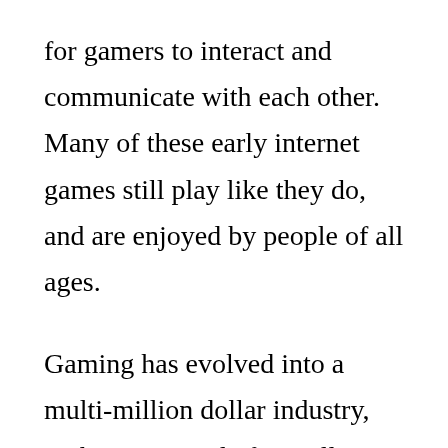for gamers to interact and communicate with each other. Many of these early internet games still play like they do, and are enjoyed by people of all ages.
Gaming has evolved into a multi-million dollar industry, with more people from all walks of life getting involved in it. Gamers can play games on a wide variety of different platforms, including PCs, consoles, mobile devices, and more. Many experts believe that the...